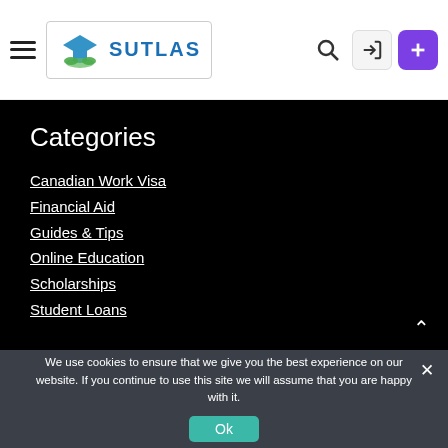SUTLAS navigation header with hamburger menu, logo, search, login and add buttons
Categories
Canadian Work Visa
Financial Aid
Guides & Tips
Online Education
Scholarships
Student Loans
We use cookies to ensure that we give you the best experience on our website. If you continue to use this site we will assume that you are happy with it.